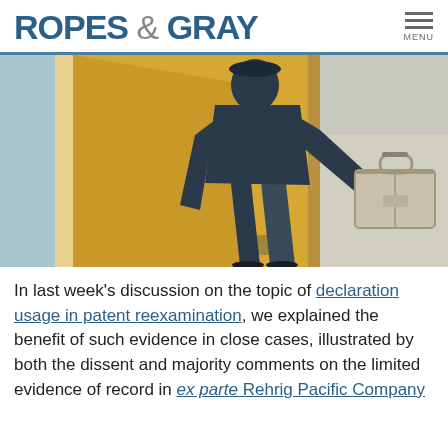ROPES & GRAY
[Figure (illustration): Illustration of a person in a dark suit carrying a briefcase, walking through a doorway with a yellow/tan door panel. The figure appears to be entering or exiting a room.]
In last week's discussion on the topic of declaration usage in patent reexamination, we explained the benefit of such evidence in close cases, illustrated by both the dissent and majority comments on the limited evidence of record in ex parte Rehrig Pacific Company